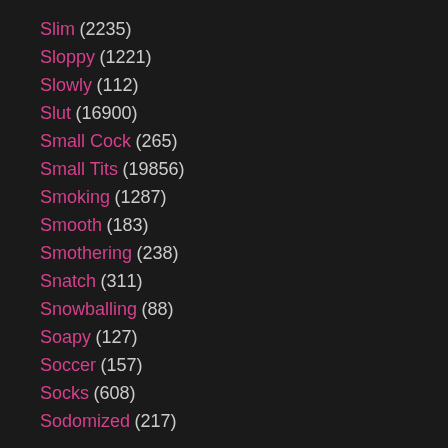Slim (2235)
Sloppy (1221)
Slowly (112)
Slut (16900)
Small Cock (265)
Small Tits (19856)
Smoking (1287)
Smooth (183)
Smothering (238)
Snatch (311)
Snowballing (88)
Soapy (127)
Soccer (157)
Socks (608)
Sodomized (217)